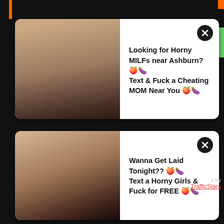[Figure (other): Ad card 1: thumbnail photo of a woman, white card with close button]
Looking for Horny MILFs near Ashburn? 🍑🍆
Text & Fuck a Cheating MOM Near You 🍑🍆
[Figure (other): Ad card 2: thumbnail photo of a woman, white card with close button]
Wanna Get Laid Tonight?? 🍑🍆
Text a Horny Girls & Fuck for FREE 🍑🍆
s by
TrafficStars
[Figure (photo): Bottom left: explicit adult video thumbnail]
[Figure (photo): Bottom right: adult video thumbnail of woman with red hair]